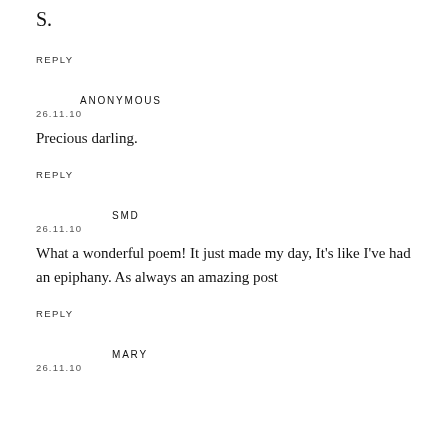S.
REPLY
ANONYMOUS
26.11.10
Precious darling.
REPLY
SMD
26.11.10
What a wonderful poem! It just made my day, It's like I've had an epiphany. As always an amazing post
REPLY
MARY
26.11.10